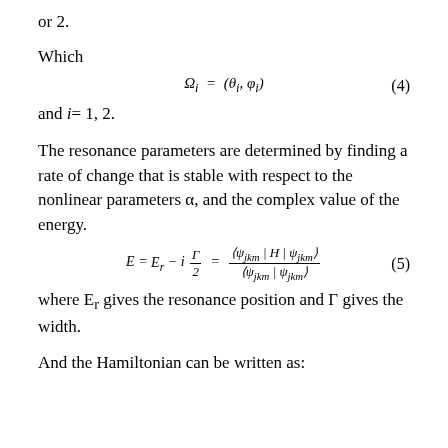or 2.
Which
and i= 1, 2.
The resonance parameters are determined by finding a rate of change that is stable with respect to the nonlinear parameters α, and the complex value of the energy.
where E_r gives the resonance position and Γ gives the width.
And the Hamiltonian can be written as: